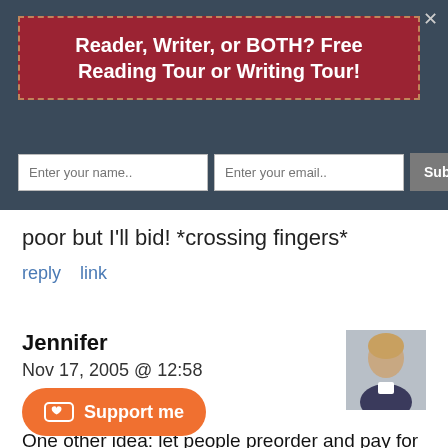Reader, Writer, or BOTH? Free Reading Tour or Writing Tour!
Enter your name..  Enter your email..  Subscribe Now
poor but I'll bid! *crossing fingers*
reply   link
Jennifer
Nov 17, 2005 @ 12:58
One other idea: let people preorder and pay for CCC now, and then email them the ebook when it's do that, but (since I Do Not Use Paypal) non-Paypal payment methods would